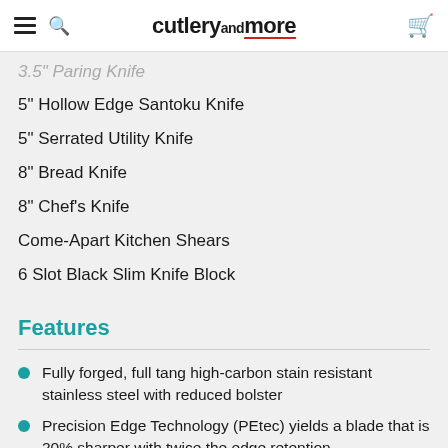cutleryandmore
5" Hollow Edge Santoku Knife
5" Serrated Utility Knife
8" Bread Knife
8" Chef's Knife
Come-Apart Kitchen Shears
6 Slot Black Slim Knife Block
Features
Fully forged, full tang high-carbon stain resistant stainless steel with reduced bolster
Precision Edge Technology (PEtec) yields a blade that is 20% sharper with twice the edge retention